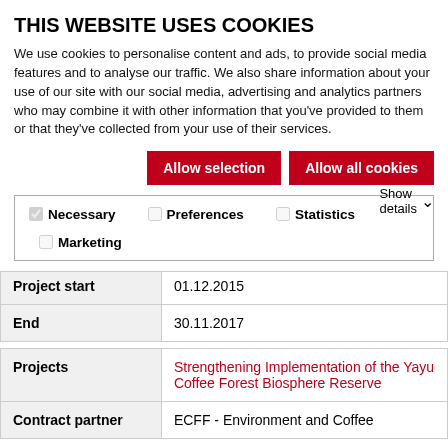THIS WEBSITE USES COOKIES
We use cookies to personalise content and ads, to provide social media features and to analyse our traffic. We also share information about your use of our site with our social media, advertising and analytics partners who may combine it with other information that you've provided to them or that they've collected from your use of their services.
Allow selection | Allow all cookies
Necessary  Preferences  Statistics  Marketing  Show details
| Funding amount | € 150.000,00 |
| Project start | 01.12.2015 |
| End | 30.11.2017 |
| Projects | Strengthening Implementation of the Yayu Coffee Forest Biosphere Reserve |
| Contract partner | ECFF - Environment and Coffee |